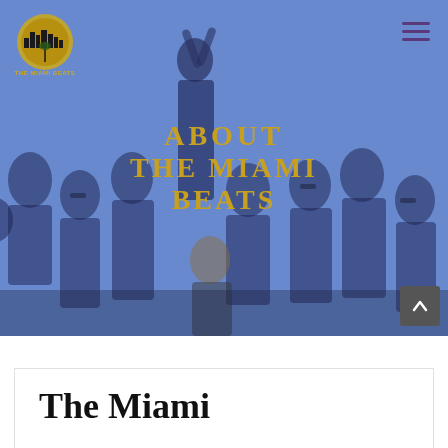[Figure (photo): Group photo of The Miami Beats band members, approximately 13 people dressed in black, posed against a white studio background, overlaid with a blue transparent tint. A logo for The Miami Beats appears in the top left corner, and a hamburger menu icon appears in the top right.]
ABOUT THE MIAMI BEATS
The Miami